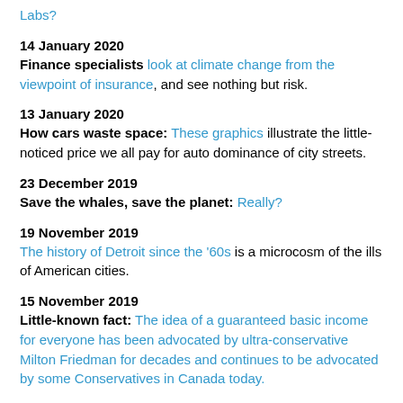Labs?
14 January 2020
Finance specialists look at climate change from the viewpoint of insurance, and see nothing but risk.
13 January 2020
How cars waste space: These graphics illustrate the little-noticed price we all pay for auto dominance of city streets.
23 December 2019
Save the whales, save the planet: Really?
19 November 2019
The history of Detroit since the '60s is a microcosm of the ills of American cities.
15 November 2019
Little-known fact: The idea of a guaranteed basic income for everyone has been advocated by ultra-conservative Milton Friedman for decades and continues to be advocated by some Conservatives in Canada today.